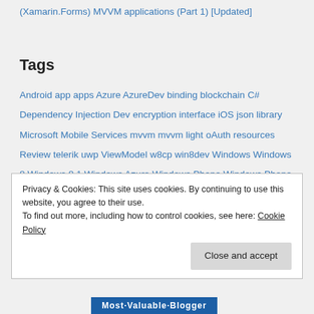(Xamarin.Forms) MVVM applications (Part 1) [Updated]
Tags
Android  app  apps  Azure  AzureDev  binding  blockchain  C#  Dependency Injection  Dev  encryption  interface  iOS  json  library  Microsoft  Mobile Services  mvvm  mvvm light  oAuth  resources  Review  telerik  uwp  ViewModel  w8cp  win8dev  Windows  Windows 8  Windows 8.1  Windows Azure  Windows Phone  Windows Phone 8.1  WinPhanDev  WordPress  WP7  WP8  WP8.1  wpdev  xamarin
Privacy & Cookies: This site uses cookies. By continuing to use this website, you agree to their use.
To find out more, including how to control cookies, see here: Cookie Policy
Close and accept
Most·Valuable·Blogger